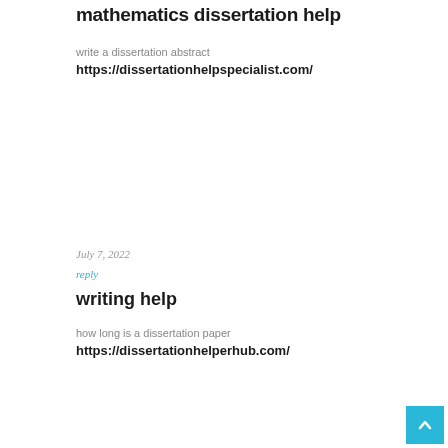mathematics dissertation help
write a dissertation abstract
https://dissertationhelpspecialist.com/
July 7, 2022
reply
writing help
how long is a dissertation paper
https://dissertationhelperhub.com/